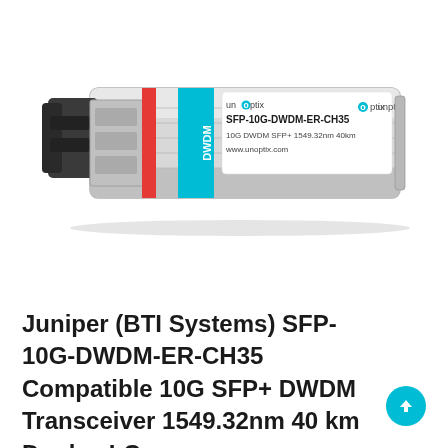[Figure (photo): Product photo of an SFP+ DWDM optical transceiver module. The transceiver is silver/metallic with a black pull tab on the left. It has a red stripe near the connector end, a teal/cyan vertical label reading 'DWDM', and a white label on top reading 'SFP-10G-DWDM-ER-CH35', '10G DWDM SFP+ 1549.32nm 40km', 'www.unoptix.com'. The unoptix logo is in the upper right of the label. Brand: unoptix.]
Juniper (BTI Systems) SFP-10G-DWDM-ER-CH35 Compatible 10G SFP+ DWDM Transceiver 1549.32nm 40 km Duplex LC